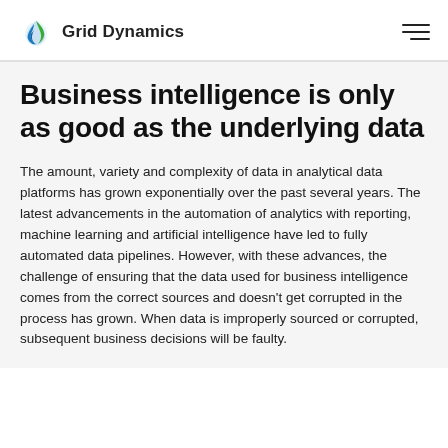Grid Dynamics
Business intelligence is only as good as the underlying data
The amount, variety and complexity of data in analytical data platforms has grown exponentially over the past several years. The latest advancements in the automation of analytics with reporting, machine learning and artificial intelligence have led to fully automated data pipelines. However, with these advances, the challenge of ensuring that the data used for business intelligence comes from the correct sources and doesn't get corrupted in the process has grown. When data is improperly sourced or corrupted, subsequent business decisions will be faulty.